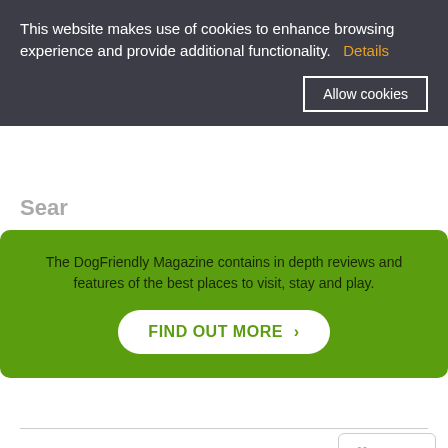This website makes use of cookies to enhance browsing experience and provide additional functionality.  Details
Allow cookies
Sear…
The DogFriendly Magazine contains in depth reviews and features of the best places to visit, stay and play.
FIND OUT MORE >
Save
Book This Property
House · Rooms 3 · Sleeps 4